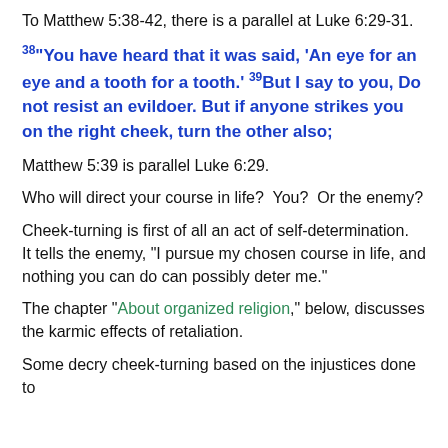To Matthew 5:38-42, there is a parallel at Luke 6:29-31.
38“You have heard that it was said, ‘An eye for an eye and a tooth for a tooth.’ 39But I say to you, Do not resist an evildoer. But if anyone strikes you on the right cheek, turn the other also;
Matthew 5:39 is parallel Luke 6:29.
Who will direct your course in life?  You?  Or the enemy?
Cheek-turning is first of all an act of self-determination.  It tells the enemy, “I pursue my chosen course in life, and nothing you can do can possibly deter me.”
The chapter “About organized religion,” below, discusses the karmic effects of retaliation.
Some decry cheek-turning based on the injustices done to